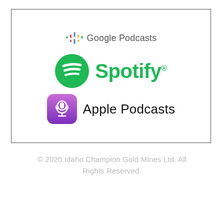[Figure (logo): Google Podcasts logo with colorful dot icon and grey text]
[Figure (logo): Spotify logo with green circle icon and green bold text]
[Figure (logo): Apple Podcasts logo with purple rounded square icon and black text]
© 2020 Idaho Champion Gold Mines Ltd. All Rights Reserved.